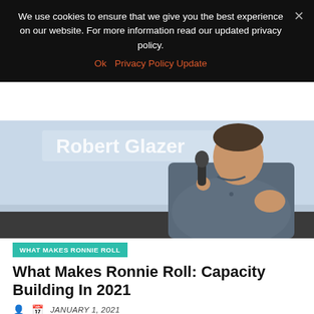We use cookies to ensure that we give you the best experience on our website. For more information read our updated privacy policy.
Ok  Privacy Policy Update
[Figure (photo): A man in a blue button-up shirt holding a microphone and gesturing with his right hand. In the background is a screen that reads 'Robert Glazer'.]
WHAT MAKES RONNIE ROLL
What Makes Ronnie Roll: Capacity Building In 2021
JANUARY 1, 2021
By: Ali Elizabeth Turner We had all just come off of a challenging Christmas, and Mayor Marks made us laugh